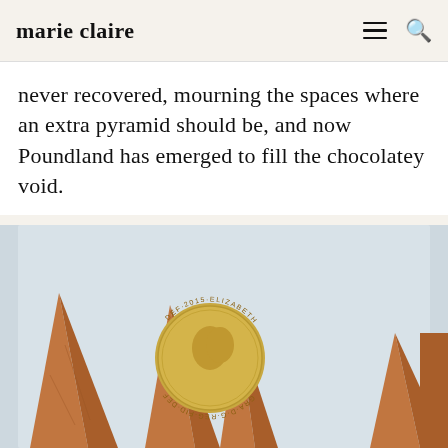marie claire
never recovered, mourning the spaces where an extra pyramid should be, and now Poundland has emerged to fill the chocolatey void.
[Figure (photo): A photograph showing several Toblerone chocolate pyramid pieces alongside a British pound coin (2015, Elizabeth II), placed on a light blue-grey background. The coin rests balanced between two of the triangular chocolate pieces.]